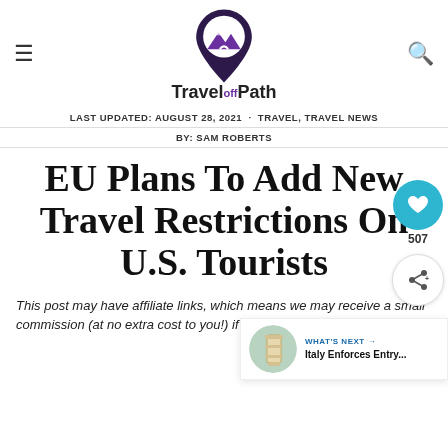[Figure (logo): TravelOffPath logo: map pin icon with purple mountains and white road, text 'Travel Off Path' below]
LAST UPDATED: AUGUST 28, 2021  ·  TRAVEL, TRAVEL NEWS
BY: SAM ROBERTS
EU Plans To Add New Travel Restrictions On U.S. Tourists
This post may have affiliate links, which means we may receive a small commission (at no extra cost to you!) if you choose to purchase